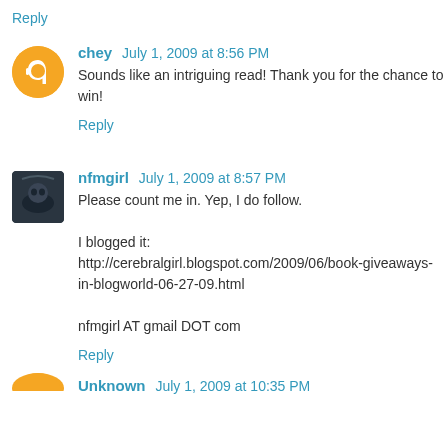Reply
chey July 1, 2009 at 8:56 PM
Sounds like an intriguing read! Thank you for the chance to win!
Reply
nfmgirl July 1, 2009 at 8:57 PM
Please count me in. Yep, I do follow.

I blogged it:
http://cerebralgirl.blogspot.com/2009/06/book-giveaways-in-blogworld-06-27-09.html

nfmgirl AT gmail DOT com
Reply
Unknown July 1, 2009 at 10:35 PM